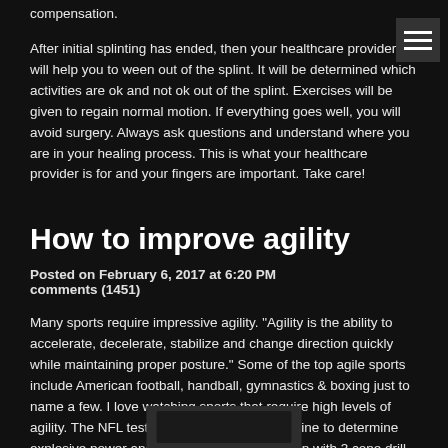compensation.
After initial splinting has ended, then your healthcare provider will help you to ween out of the splint. It will be determined which activities are ok and not ok out of the splint. Exercises will be given to regain normal motion. If everything goes well, you will avoid surgery. Always ask questions and understand where you are in your healing process. This is what your healthcare provider is for and your fingers are important. Take care!
How to improve agility
Posted on February 6, 2017 at 6:20 PM
comments (1451)
Many sports require impressive agility. "Agility is the ability to accelerate, decelerate, stabilize and change direction quickly while maintaining proper posture." Some of the top agile sports include American football, handball, gymnastics & boxing just to name a few. I love watching sports that require high levels of agility. The NFL tests agility during their combine to determine explosive power and ability to change direction with 3 cone drill and shuttle run (5-10-5). This is what allows football receivers to catch a football anywhere along the average distance of a two car garage, a gymnast to hurl through space with twists, turns and back again.
[Figure (photo): Sports photo partially visible at bottom of page]